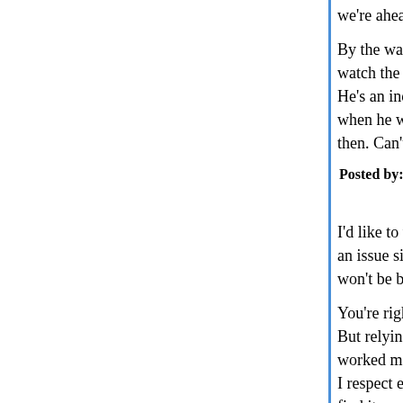we're ahead. Fingers crossed, and work continue
By the way, I had concert tickets for tomorrow nig watch the Kaine / Pence debate. Some people thi He's an incredibly dignified life-long fighter. I love when he was first announced, and at the convent then. Can't wait to see him tomorrow.
Posted by: sapient | October 03, 2016 at 08:25 PM
I'd like to watch the VP debate too, as I often hav an issue since I'll be leaving London for the North won't be back where I record it for weeks.
You're right again, of course, there really is a limit. But relying on Trump to wreck his chances by jus worked months ago, I'm still finding it incredible th I respect everyone on this site (that I can immedia find it amazing that anybody could dream of absta the alternative. However, I suppose we've rehears nauseam already, and so to bed.
Posted by: Girl from the North Country | October 03, 2016 a